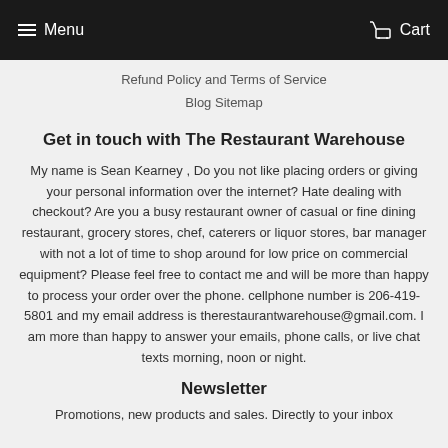Menu   Cart
Refund Policy and Terms of Service
Blog Sitemap
Get in touch with The Restaurant Warehouse
My name is Sean Kearney , Do you not like placing orders or giving your personal information over the internet? Hate dealing with checkout? Are you a busy restaurant owner of casual or fine dining restaurant, grocery stores, chef, caterers or liquor stores, bar manager with not a lot of time to shop around for low price on commercial equipment? Please feel free to contact me and will be more than happy to process your order over the phone. cellphone number is 206-419-5801 and my email address is therestaurantwarehouse@gmail.com. I am more than happy to answer your emails, phone calls, or live chat texts morning, noon or night.
Newsletter
Promotions, new products and sales. Directly to your inbox